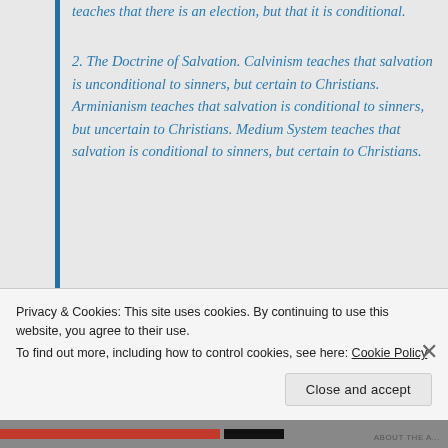teaches that there is an election, but that it is conditional.
2. The Doctrine of Salvation. Calvinism teaches that salvation is unconditional to sinners, but certain to Christians. Arminianism teaches that salvation is conditional to sinners, but uncertain to Christians. Medium System teaches that salvation is conditional to sinners, but certain to Christians.
Privacy & Cookies: This site uses cookies. By continuing to use this website, you agree to their use.
To find out more, including how to control cookies, see here: Cookie Policy